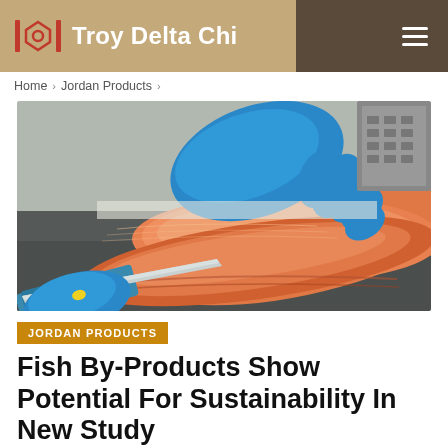Troy Delta Chi
Home > Jordan Products >
[Figure (photo): Person in blue gloves filleting salmon fish on a cutting board, two large salmon fillets visible with orange-pink flesh, knife being used]
JORDAN PRODUCTS
Fish By-Products Show Potential For Sustainability In New Study